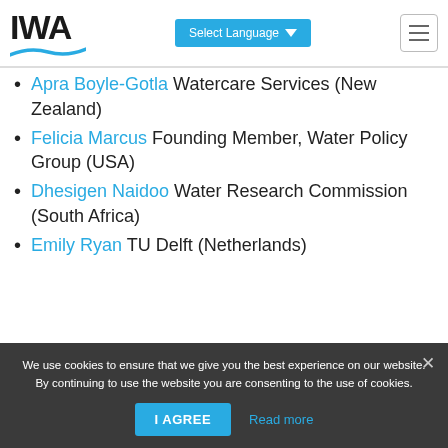IWA [logo] | Select Language | [menu]
Apra Boyle-Gotla Watercare Services (New Zealand)
Felicia Marcus Founding Member, Water Policy Group (USA)
Dhesigen Naidoo Water Research Commission (South Africa)
Emily Ryan TU Delft (Netherlands)
We use cookies to ensure that we give you the best experience on our website. By continuing to use the website you are consenting to the use of cookies.
I AGREE | Read more